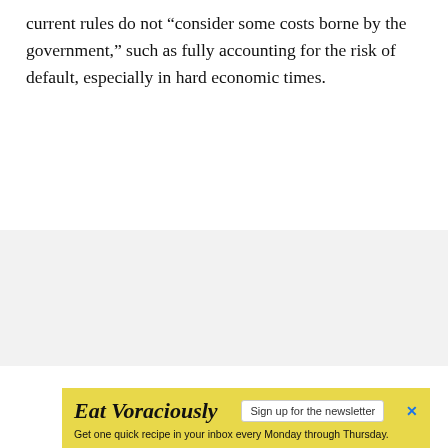current rules do not “consider some costs borne by the government,” such as fully accounting for the risk of default, especially in hard economic times.
[Figure (other): Gray background area representing an advertisement or content placeholder]
[Figure (infographic): Yellow advertisement banner for 'Eat Voraciously' newsletter with sign up button and tagline: Get one quick recipe in your inbox every Monday through Thursday.]